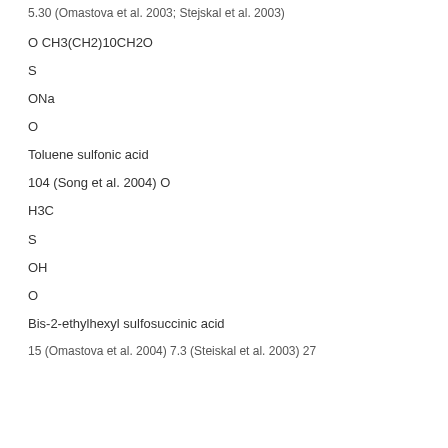5.30 (Omastova et al. 2003; Stejskal et al. 2003)
O CH3(CH2)10CH2O
S
ONa
O
Toluene sulfonic acid
104 (Song et al. 2004) O
H3C
S
OH
O
Bis-2-ethylhexyl sulfosuccinic acid
15 (Omastova et al. 2004) 7.3 (Steiskal et al. 2003) 27